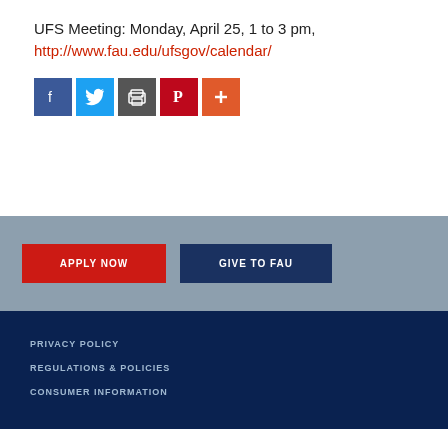UFS Meeting: Monday, April 25, 1 to 3 pm, http://www.fau.edu/ufsgov/calendar/
[Figure (infographic): Row of five social media sharing icon buttons: Facebook (blue), Twitter (light blue), Email/Print (dark grey), Pinterest (red), More/Plus (orange-red)]
APPLY NOW
GIVE TO FAU
PRIVACY POLICY
REGULATIONS & POLICIES
CONSUMER INFORMATION